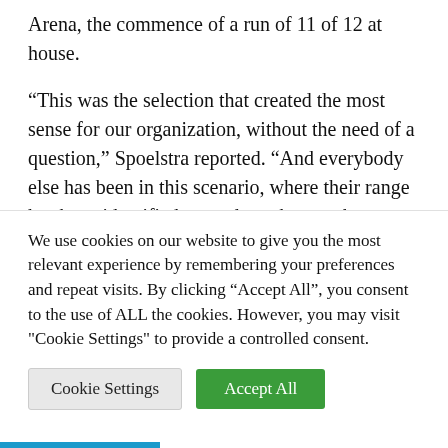Arena, the commence of a run of 11 of 12 at house.
“This was the selection that created the most sense for our organization, without the need of a question,” Spoelstra reported. “And everybody else has been in this scenario, where their range has been identified as, and you have to be effective and dependable to your minutes. They’re utilised to it. It’s not like it’s a shock.”
Hardly. even if it arrived with Kyle Lowry continue to
We use cookies on our website to give you the most relevant experience by remembering your preferences and repeat visits. By clicking “Accept All”, you consent to the use of ALL the cookies. However, you may visit "Cookie Settings" to provide a controlled consent.